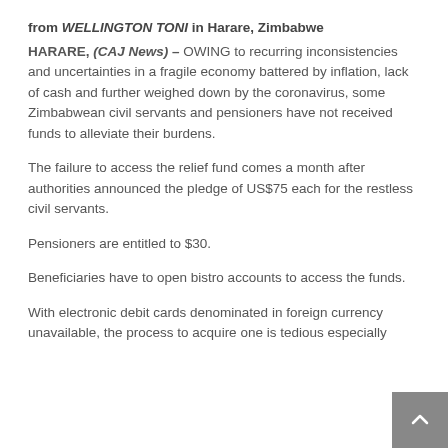from WELLINGTON TONI in Harare, Zimbabwe
HARARE, (CAJ News) – OWING to recurring inconsistencies and uncertainties in a fragile economy battered by inflation, lack of cash and further weighed down by the coronavirus, some Zimbabwean civil servants and pensioners have not received funds to alleviate their burdens.
The failure to access the relief fund comes a month after authorities announced the pledge of US$75 each for the restless civil servants.
Pensioners are entitled to $30.
Beneficiaries have to open bistro accounts to access the funds.
With electronic debit cards denominated in foreign currency unavailable, the process to acquire one is tedious especially